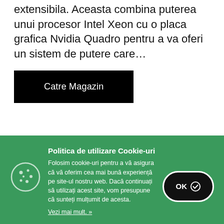extensibila. Aceasta combina puterea unui procesor Intel Xeon cu o placa grafica Nvidia Quadro pentru a va oferi un sistem de putere care…
Catre Magazin
Politica de utilizare Cookie-uri
Folosim cookie-uri pentru a vă asigura că vă oferim cea mai bună experiență pe site-ul nostru web. Dacă continuați să utilizați acest site, vom presupune că sunteți mulțumit de acesta.
Vezi mai mult. »